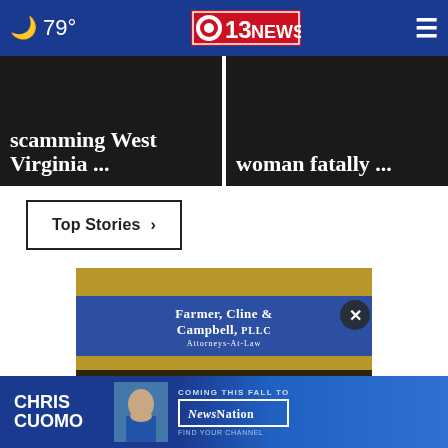🌙 79° | CBS 13 NEWS
scamming West Virginia ...
woman fatally ...
Top Stories ›
[Figure (photo): Farmer, Cline & Campbell PLLC Attorneys-At-Law law firm sign with blue panel. Text reads: COURTROOM STRONG / CLIENT FRIENDLY]
[Figure (photo): Chris Cuomo advertisement banner: CHRIS CUOMO — COMING THIS FALL TO [NEWSNATION] FIND YOUR CHANNEL]